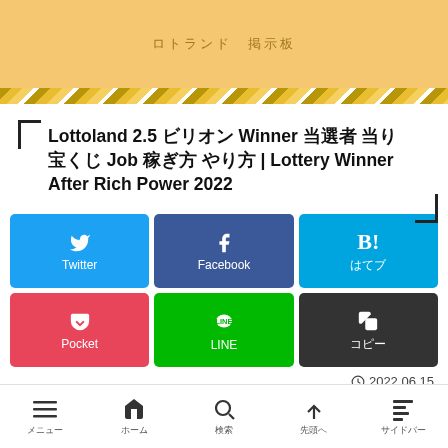ロトランド　掲示板
Lottoland 2.5 ビリオン Winner 当選者 当り 宝くじ Job 稼ぎ方 やり方 | Lottery Winner After Rich Power 2022
[Figure (screenshot): Social share buttons: Twitter (blue), Facebook (dark blue), はてブ B! (light blue), Pocket (red/pink), LINE (green), コピー (dark grey)]
2022.06.15
[Figure (photo): Colorful image strip partially visible at the bottom of the content area]
メニュー　ホーム　検索　先頭へ　サイドバー